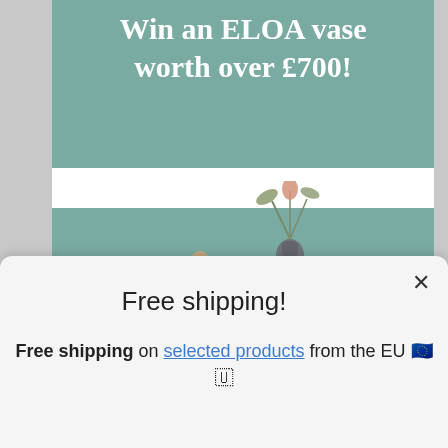Win an ELOA vase worth over £700!
[Figure (photo): Three decorative glass vases in muted tones (amber, dark grey, grey) with a botanical/plant stem, arranged as a group on a teal background]
Subscribe to Pamono's exclusive email list and automatically be entered for a chance to win*
Free shipping!
Free shipping on selected products from the EU 🇪🇺🇺